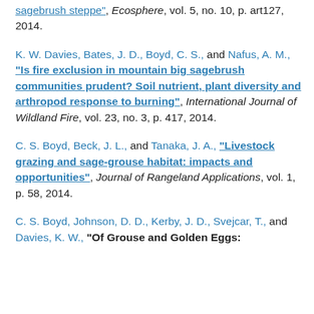sagebrush steppe", Ecosphere, vol. 5, no. 10, p. art127, 2014.
K. W. Davies, Bates, J. D., Boyd, C. S., and Nafus, A. M., "Is fire exclusion in mountain big sagebrush communities prudent? Soil nutrient, plant diversity and arthropod response to burning", International Journal of Wildland Fire, vol. 23, no. 3, p. 417, 2014.
C. S. Boyd, Beck, J. L., and Tanaka, J. A., "Livestock grazing and sage-grouse habitat: impacts and opportunities", Journal of Rangeland Applications, vol. 1, p. 58, 2014.
C. S. Boyd, Johnson, D. D., Kerby, J. D., Svejcar, T., and Davies, K. W., "Of Grouse and Golden Eggs: